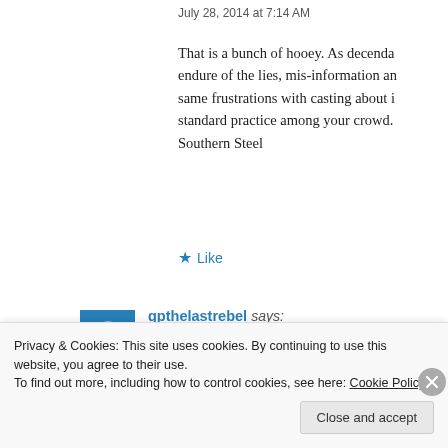July 28, 2014 at 7:14 AM
That is a bunch of hooey. As decenda endure of the lies, mis-information an same frustrations with casting about i standard practice among your crowd. Southern Steel
★ Like
[Figure (logo): Blue square avatar with white power button icon]
gpthelastrebel says: July 28, 2014 at 7:08 AM
hey Doc it is the best Dick can do. he cann
Privacy & Cookies: This site uses cookies. By continuing to use this website, you agree to their use.
To find out more, including how to control cookies, see here: Cookie Policy
Close and accept